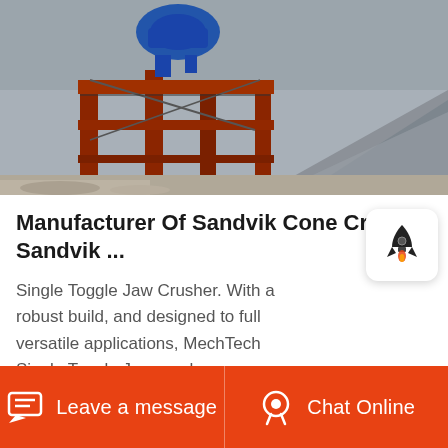[Figure (photo): Industrial jaw crusher machine with red steel frame structure at a quarry site, with aggregate/stone pile visible on the right and blue mechanical component at top.]
Manufacturer Of Sandvik Cone Crusher Sandvik ...
Single Toggle Jaw Crusher. With a robust build, and designed to full versatile applications, MechTech Single Toggle Jaw crushers are capable of crushing materials from soft, medium and very hard such as Aggregate, LimeStone, Dolomite, Bauxite, etc. With heavy duty Why Choose
Leave a message   Chat Online